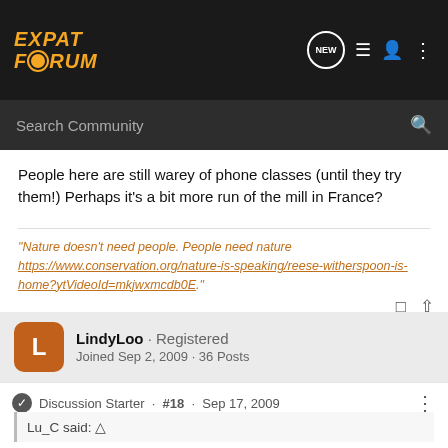EXPAT FORUM
Search Community
People here are still warey of phone classes (until they try them!) Perhaps it's a bit more run of the mill in France?
"Nature doesn't need people. People need nature https://www.conservation.org/nature-is-speaking/reese-witherspoon-is-home?ytVideoId=mkjwxmcdb0E."
LindyLoo · Registered
Joined Sep 2, 2009 · 36 Posts
Discussion Starter · #18 · Sep 17, 2009
Lu_C said: